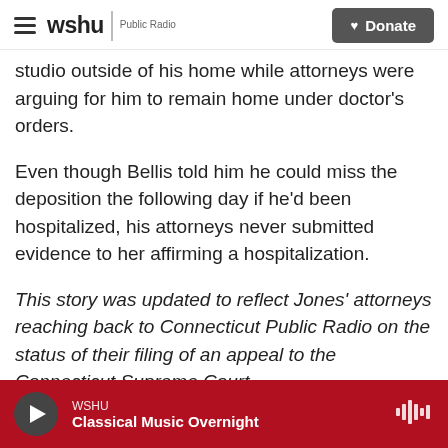wshu | Public Radio  Donate
studio outside of his home while attorneys were arguing for him to remain home under doctor's orders.
Even though Bellis told him he could miss the deposition the following day if he'd been hospitalized, his attorneys never submitted evidence to her affirming a hospitalization.
This story was updated to reflect Jones' attorneys reaching back to Connecticut Public Radio on the status of their filing of an appeal to the Connecticut Supreme Court.
Copyright 2022 Connecticut Public Radio. To see
WSHU  Classical Music Overnight